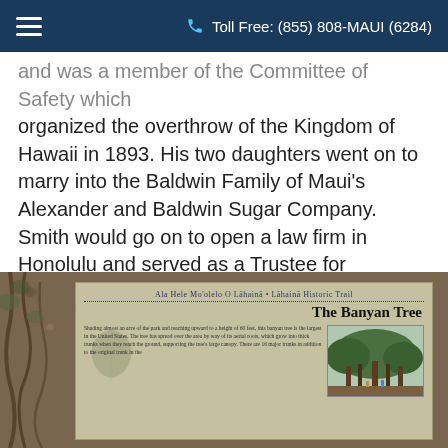Toll Free: (855) 808-MAUI (6284)
and was a member of the Committee of Safety which organized the overthrow of the Kingdom of Hawaii in 1893. His two daughters went on to marry into the Baldwin Family of Maui's Alexander and Baldwin Sugar Company. Smith would go on to open a law firm in Honolulu and served as a Trustee for Kamehameha Schools and Queen Lili'uokalani's Estate among others.
[Figure (photo): A historical trail marker sign for the Lahaina Historic Trail (Ala Hele Mo'olelo O Lahaina) featuring information about The Banyan Tree, including a small photograph of the banyan tree, set against a gravel/stone background.]